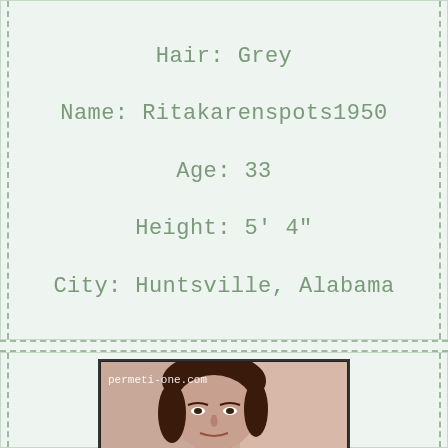Hair: Grey
Name: Ritakarenspots1950
Age: 33
Height: 5' 4"
City: Huntsville, Alabama
[Figure (photo): Photo of a woman with dark hair, face visible from chin up. Watermark text 'permeti-one.com' in top left corner.]